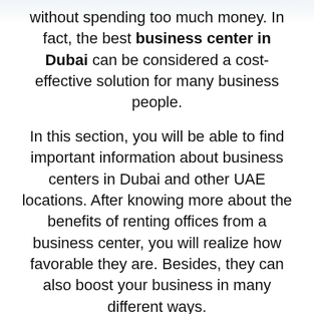without spending too much money. In fact, the best business center in Dubai can be considered a cost-effective solution for many business people.
In this section, you will be able to find important information about business centers in Dubai and other UAE locations. After knowing more about the benefits of renting offices from a business center, you will realize how favorable they are. Besides, they can also boost your business in many different ways.
Read more